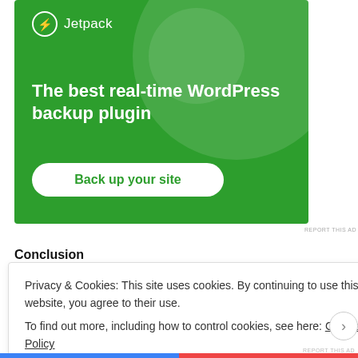[Figure (screenshot): Jetpack WordPress plugin advertisement banner with green background, logo, headline 'The best real-time WordPress backup plugin', and a 'Back up your site' button]
REPORT THIS AD
Conclusion
Privacy & Cookies: This site uses cookies. By continuing to use this website, you agree to their use.
To find out more, including how to control cookies, see here: Cookie Policy
Close and accept